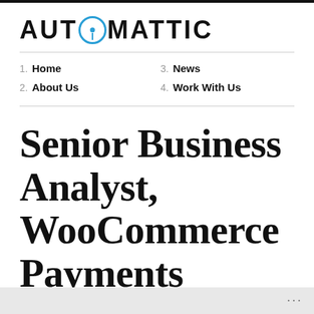[Figure (logo): Automattic company logo in bold uppercase letters with a stylized 'O' containing a compass/target symbol in blue]
1. Home
2. About Us
3. News
4. Work With Us
Senior Business Analyst, WooCommerce Payments